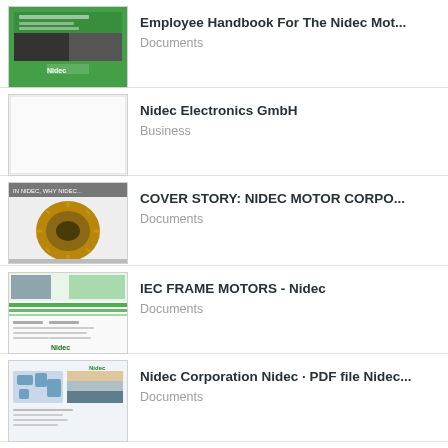Employee Handbook For The Nidec Mot...
Documents
Nidec Electronics GmbH
Business
COVER STORY: NIDEC MOTOR CORPO...
Documents
IEC FRAME MOTORS - Nidec
Documents
Nidec Corporation Nidec · PDF file Nidec...
Documents